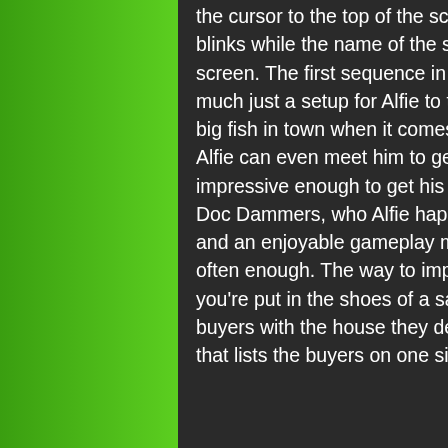the cursor to the top of the screen, and when you select an object the cursor blinks while the name of the selected object shows at the bottom left of the screen. The first sequence in New York City is relatively short and is pretty much just a setup for Alfie to travel to Miami, and the game truly begins. The big fish in town when it comes to real estate is George Merrick but before Alfie can even meet him to get a job, he has to perform a task that would be impressive enough to get his attention. This would be done with the help of Doc Dammers, who Alfie happens to meet as soon as he arrives in Miami, and an enjoyable gameplay mechanic that unfortunately doesn't appear often enough. The way to impress Merrick is through real estate sales so you're put in the shoes of a salesman and have to match up prospective buyers with the house they desire. This is done through an interactive screen that lists the buyers on one side with a description of what they're looking